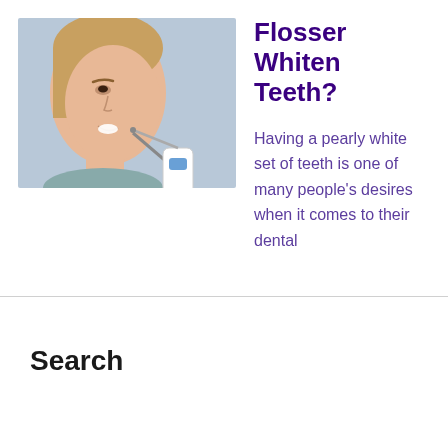[Figure (photo): A woman using a water flosser on her teeth, photographed from the side profile against a light blue/grey background. She is smiling and holding a white and blue electric water flosser to her mouth.]
Flosser Whiten Teeth?
Having a pearly white set of teeth is one of many people's desires when it comes to their dental
Search